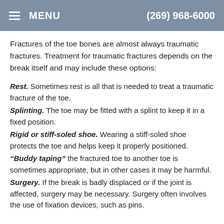MENU  (269) 968-6000
Fractures of the toe bones are almost always traumatic fractures. Treatment for traumatic fractures depends on the break itself and may include these options:
Rest. Sometimes rest is all that is needed to treat a traumatic fracture of the toe.
Splinting. The toe may be fitted with a splint to keep it in a fixed position.
Rigid or stiff-soled shoe. Wearing a stiff-soled shoe protects the toe and helps keep it properly positioned.
"Buddy taping" the fractured toe to another toe is sometimes appropriate, but in other cases it may be harmful.
Surgery. If the break is badly displaced or if the joint is affected, surgery may be necessary. Surgery often involves the use of fixation devices, such as pins.